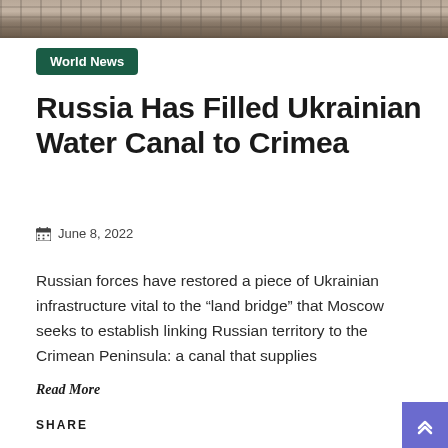[Figure (photo): Aerial/satellite photograph showing terrain, roads, and structures from above — appears to be a war-related area near a canal.]
World News
Russia Has Filled Ukrainian Water Canal to Crimea
June 8, 2022
Russian forces have restored a piece of Ukrainian infrastructure vital to the “land bridge” that Moscow seeks to establish linking Russian territory to the Crimean Peninsula: a canal that supplies
Read More
SHARE